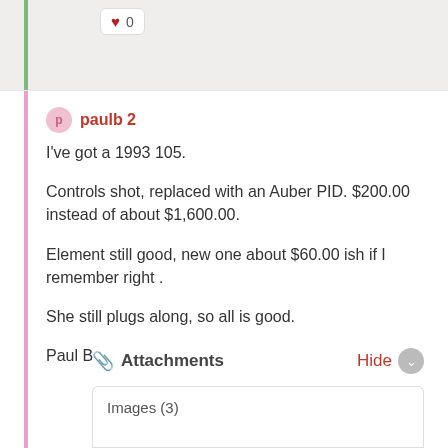[Figure (other): Heart/like icon with count 0 in a white rounded box]
paulb 2
I've got a 1993 105.

Controls shot, replaced with an Auber PID.  $200.00 instead of about $1,600.00.

Element still good, new one about $60.00 ish if I remember right .

She still plugs along, so all is good.

Paul B
Attachments   Hide
Images (3)